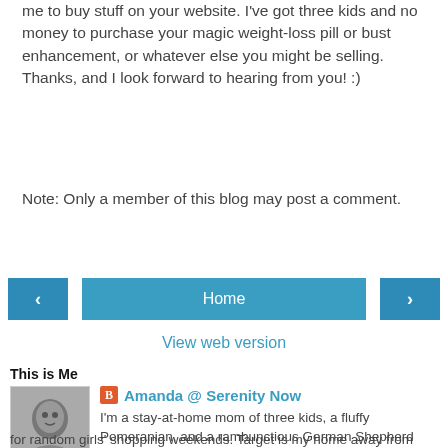me to buy stuff on your website. I've got three kids and no money to purchase your magic weight-loss pill or bust enhancement, or whatever else you might be selling. Thanks, and I look forward to hearing from you! :)
Note: Only a member of this blog may post a comment.
[Figure (other): Navigation row with left arrow button, Home button, and right arrow button]
View web version
This is Me
[Figure (photo): Profile photo of Amanda, a woman with dark hair]
Amanda @ Serenity Now
I'm a stay-at-home mom of three kids, a fluffy Pomeranian, and a rambunctious German Shepherd puppy. Happily married to T. We live in Virginia, but I secretly dream of what it would be like to have a place in NYC to escape to for random girls' shopping weekends. Target is my home away from home. I stay sane by doing creative projects around my home and taking lots of pictures. Stick around for realistic inspiration...on a